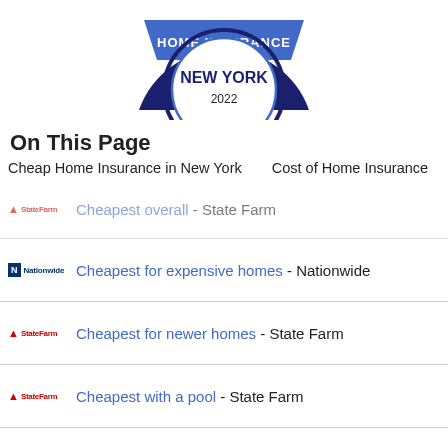[Figure (illustration): Circular badge/emblem for Home Insurance New York 2022, with dark blue arc top labeled HOME INSURANCE, and inner circle with NEW YORK and 2022 text]
On This Page
Cheap Home Insurance in New York    Cost of Home Insurance
Cheapest overall - State Farm
Cheapest for expensive homes - Nationwide
Cheapest for newer homes - State Farm
Cheapest with a pool - State Farm
Cheapest for poor credit - Nationwide